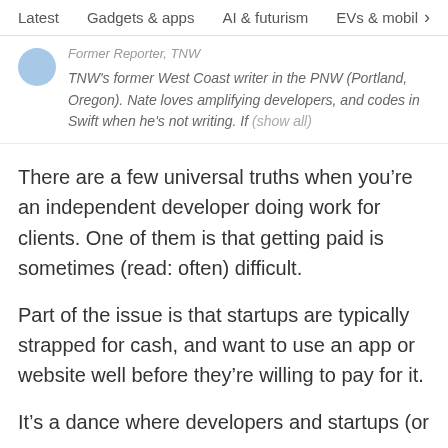Latest   Gadgets & apps   AI & futurism   EVs & mobil
Former Reporter, TNW
TNW's former West Coast writer in the PNW (Portland, Oregon). Nate loves amplifying developers, and codes in Swift when he's not writing. If (show all)
There are a few universal truths when you’re an independent developer doing work for clients. One of them is that getting paid is sometimes (read: often) difficult.
Part of the issue is that startups are typically strapped for cash, and want to use an app or website well before they’re willing to pay for it.
It’s a dance where developers and startups (or even